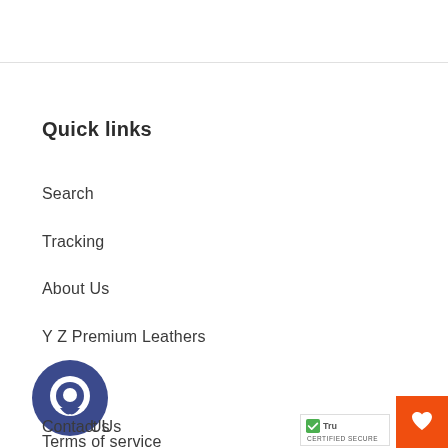Quick links
Search
Tracking
About Us
Y Z Premium Leathers
FAQ
Contact Us
Terms of service
[Figure (illustration): Dark blue circular chat/message bubble icon]
[Figure (logo): TrustBadge with green checkmark and 'Tru... CERTIFIED SECURE' text]
[Figure (illustration): Orange square button with white heart icon]